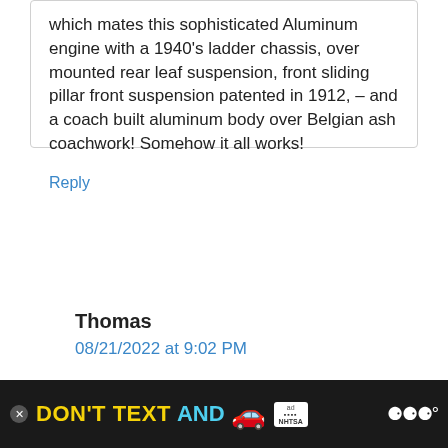which mates this sophisticated Aluminum engine with a 1940's ladder chassis, over mounted rear leaf suspension, front sliding pillar front suspension patented in 1912, – and a coach built aluminum body over Belgian ash coachwork! Somehow it all works!
Reply
Thomas
08/21/2022 at 9:02 PM
[Figure (infographic): Advertisement banner: dark background with yellow 'DON'T TEXT AND' text, cyan 'AND', red car emoji, ad badge, NHTSA logo, close button, and weather icon]